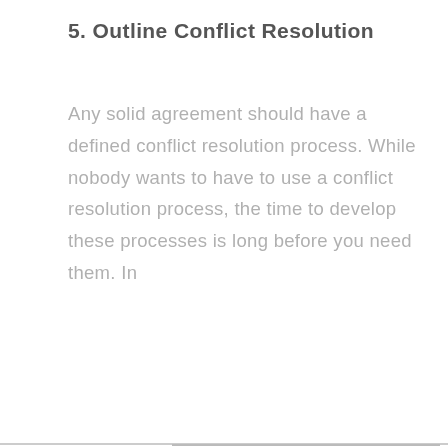5. Outline Conflict Resolution
Any solid agreement should have a defined conflict resolution process. While nobody wants to have to use a conflict resolution process, the time to develop these processes is long before you need them. In
This website stores cookies on your computer. These cookies are used to collect information about how you interact with our website and allow us to remember you. We use this information in order to improve and customize your browsing experience and for analytics and metrics about our visitors both on this website and other media. To find out more about the cookies we use, see our Privacy Policy.
I accept